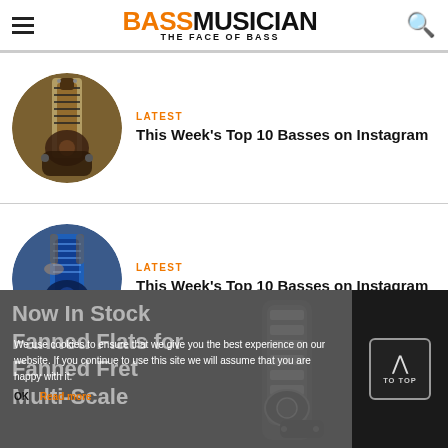BASS MUSICIAN — THE FACE OF BASS
LATEST
This Week's Top 10 Basses on Instagram
LATEST
This Week's Top 10 Basses on Instagram
[Figure (photo): Dark wood multi-string bass guitar circular thumbnail]
[Figure (photo): Blue electric bass guitar being built, circular thumbnail]
[Figure (screenshot): Footer banner: Now In Stock Fanned Flats for Fanned Fret Multi-Scale, with bass guitar graphic and cookie consent overlay]